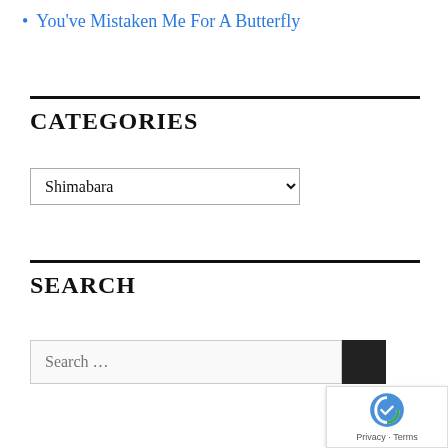You've Mistaken Me For A Butterfly
CATEGORIES
Shimabara
SEARCH
Search ...